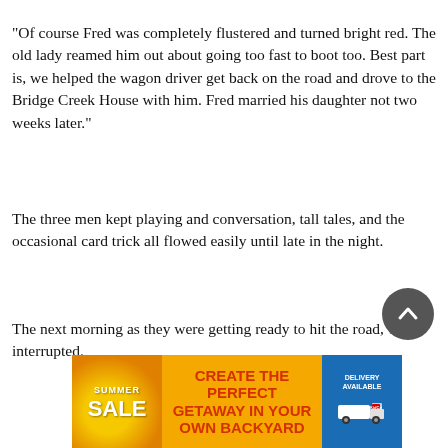“Of course Fred was completely flustered and turned bright red. The old lady reamed him out about going too fast to boot too. Best part is, we helped the wagon driver get back on the road and drove to the Bridge Creek House with him. Fred married his daughter not two weeks later.”
The three men kept playing and conversation, tall tales, and the occasional card trick all flowed easily until late in the night.
The next morning as they were getting ready to hit the road, Tom interrupted.
[Figure (other): Advertisement banner: Summer Sale - Create the perfect getaway in your own backyard. Yellow, orange and blue colors with a truck image on the right.]